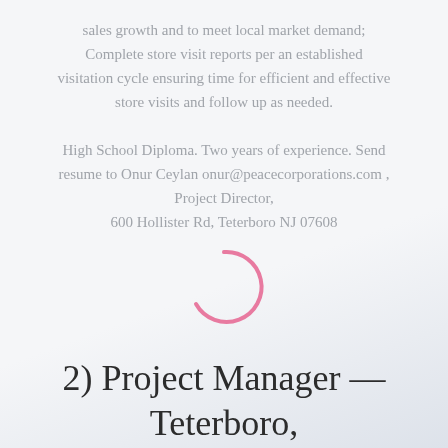sales growth and to meet local market demand; Complete store visit reports per an established visitation cycle ensuring time for efficient and effective store visits and follow up as needed. High School Diploma. Two years of experience. Send resume to Onur Ceylan onur@peacecorporations.com , Project Director, 600 Hollister Rd, Teterboro NJ 07608
[Figure (other): Pink loading spinner (arc/circle shape), indicating page content is loading]
2) Project Manager — Teterboro, NJ
Oversee store remodeling process to be leased to the licensees. Oversee the management of